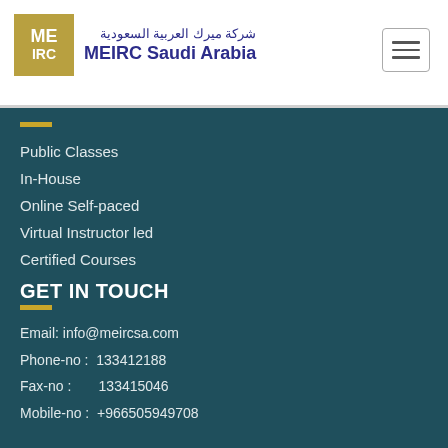[Figure (logo): MEIRC Saudi Arabia logo with gold and navy square logomark and Arabic/English brand name]
Public Classes
In-House
Online Self-paced
Virtual Instructor led
Certified Courses
GET IN TOUCH
Email: info@meircsa.com
Phone-no :  133412188
Fax-no :       133415046
Mobile-no :  +966505949708